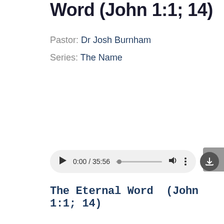Word (John 1:1; 14)
Pastor: Dr Josh Burnham
Series: The Name
[Figure (screenshot): Audio player showing 0:00 / 35:56 with play button, progress bar, volume icon, and more options icon. A download button appears to the right.]
The Eternal Word  (John 1:1; 14)